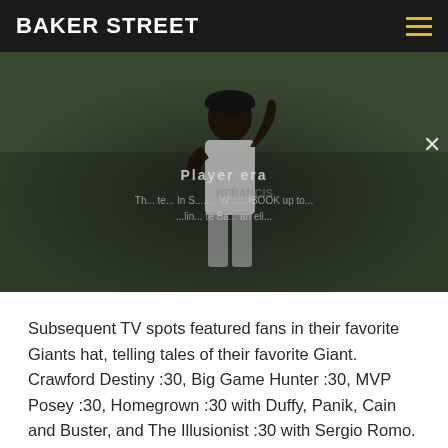BAKER STREET
[Figure (photo): Baseball player in San Francisco Giants uniform waving or gesturing, black and white or dark toned photo, crowd visible in background. Overlay text reads 'Player era' and subtitle text partially visible mentioning trade information.]
Subsequent TV spots featured fans in their favorite Giants hat, telling tales of their favorite Giant. Crawford Destiny :30, Big Game Hunter :30, MVP Posey :30, Homegrown :30 with Duffy, Panik, Cain and Buster, and The Illusionist :30 with Sergio Romo.